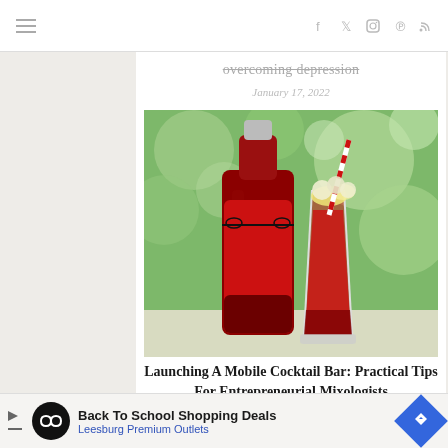≡   f  t  ◻  p  ⌇
overcoming depression
January 17, 2022
[Figure (photo): A red cocktail drink in a tall glass bottle and a glass with a red-and-white striped straw and ice, set against a green bokeh background outdoors.]
Launching A Mobile Cocktail Bar: Practical Tips For Entrepreneurial Mixologists
[Figure (infographic): Advertisement banner: Back To School Shopping Deals – Leesburg Premium Outlets, with circular logo and blue diamond arrow icon.]